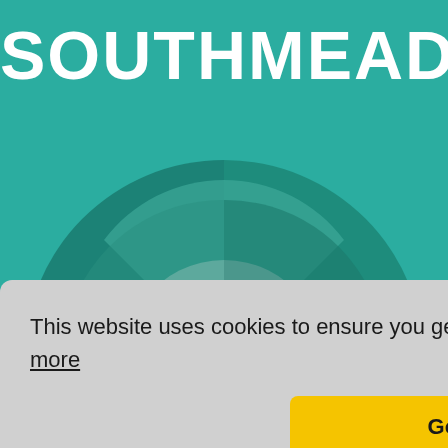[Figure (illustration): Teal/green background with large white bold text 'SOUTHMEAD' at top, and a decorative semicircle graphic below composed of multiple overlapping green arc segments in various shades]
This website uses cookies to ensure you get the best experience on our website  Learn more
Got it!
today